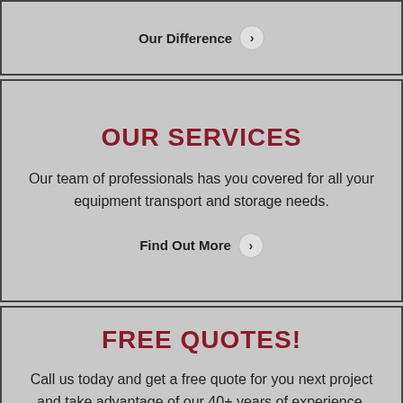Our Difference →
OUR SERVICES
Our team of professionals has you covered for all your equipment transport and storage needs.
Find Out More →
FREE QUOTES!
Call us today and get a free quote for you next project and take advantage of our 40+ years of experience.